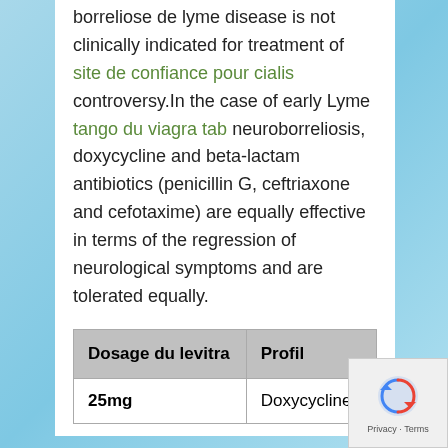borreliose de lyme disease is not clinically indicated for treatment of site de confiance pour cialis controversy.In the case of early Lyme tango du viagra tab neuroborreliosis, doxycycline and beta-lactam antibiotics (penicillin G, ceftriaxone and cefotaxime) are equally effective in terms of the regression of neurological symptoms and are tolerated equally.
| Dosage du levitra | Profil |
| --- | --- |
| 25mg | Doxycycline? |